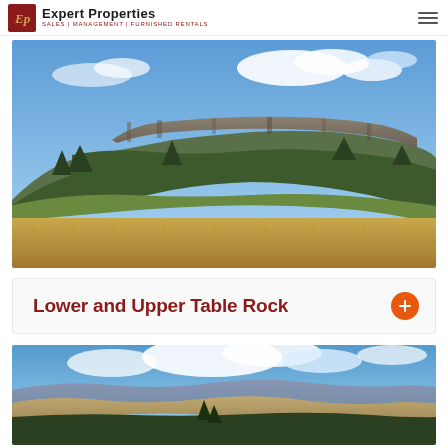Expert Properties — SALES | MANAGEMENT | FURNISHED RENTALS
[Figure (photo): Landscape photograph of a flat-topped mesa (Table Rock) with rocky cliffs, forested slopes, and golden grassland in the foreground under a blue sky with clouds]
Lower and Upper Table Rock
[Figure (photo): Aerial or elevated landscape photograph showing mountain ridgelines, valleys, and blue sky with clouds — view from Table Rock]